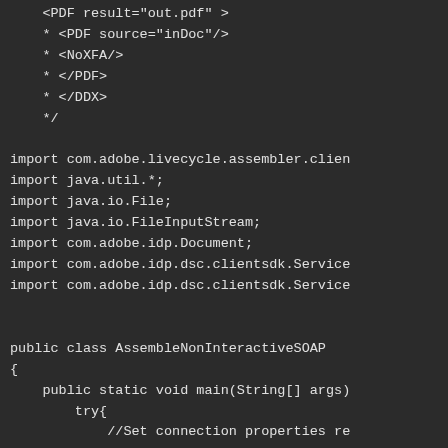Code snippet showing Java imports and class definition for AssembleNonInteractiveSOAP with DDX comment block